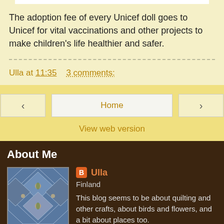The adoption fee of every Unicef doll goes to Unicef for vital vaccinations and other projects to make children's life healthier and safer.
Ulla at 11:35   3 comments:
Home
View web version
About Me
[Figure (photo): Profile image showing a patchwork quilt with blue diamond pattern]
Ulla
Finland
This blog seems to be about quilting and other crafts, about birds and flowers, and a bit about places too.
View my complete profile